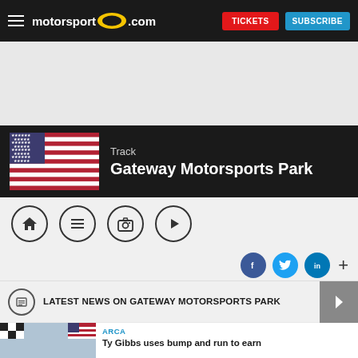motorsport.com | TICKETS | SUBSCRIBE
[Figure (screenshot): Advertisement area (gray placeholder)]
Track
Gateway Motorsports Park
[Figure (infographic): Navigation icons: home, list, camera, play]
[Figure (infographic): Social share icons: Facebook, Twitter, LinkedIn, plus]
LATEST NEWS ON GATEWAY MOTORSPORTS PARK
ARCA
Ty Gibbs uses bump and run to earn